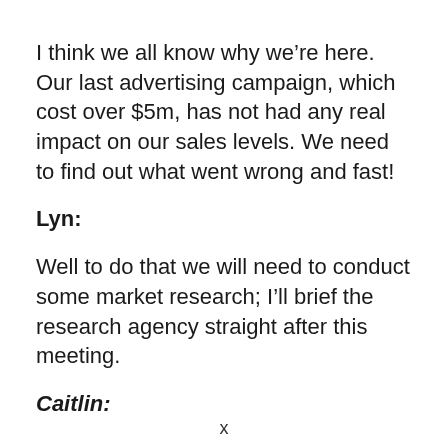I think we all know why we're here. Our last advertising campaign, which cost over $5m, has not had any real impact on our sales levels. We need to find out what went wrong and fast!
Lyn:
Well to do that we will need to conduct some market research; I'll brief the research agency straight after this meeting.
Caitlin:
x